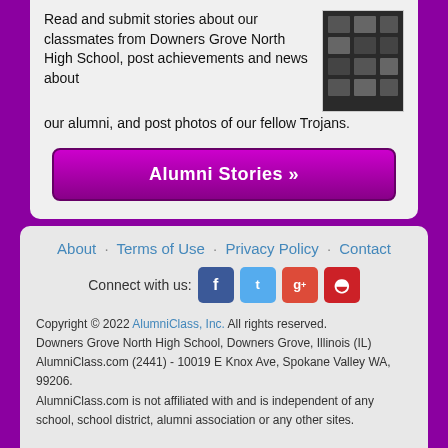Read and submit stories about our classmates from Downers Grove North High School, post achievements and news about our alumni, and post photos of our fellow Trojans.
[Figure (photo): Photo of framed pictures on a wall, dark/dim lighting]
Alumni Stories »
About · Terms of Use · Privacy Policy · Contact
Connect with us: [Facebook] [Twitter] [Google+] [Pinterest]
Copyright © 2022 AlumniClass, Inc. All rights reserved.
Downers Grove North High School, Downers Grove, Illinois (IL)
AlumniClass.com (2441) - 10019 E Knox Ave, Spokane Valley WA, 99206.
AlumniClass.com is not affiliated with and is independent of any school, school district, alumni association or any other sites.